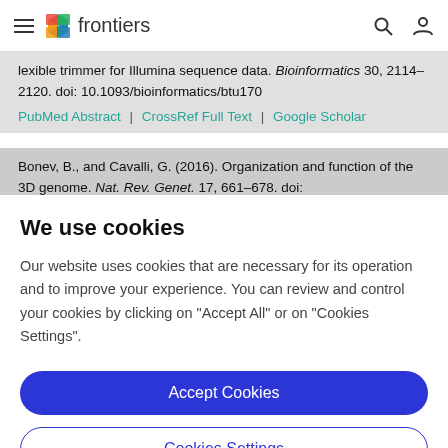frontiers
lexible trimmer for Illumina sequence data. Bioinformatics 30, 2114–2120. doi: 10.1093/bioinformatics/btu170
PubMed Abstract | CrossRef Full Text | Google Scholar
Bonev, B., and Cavalli, G. (2016). Organization and function of the 3D genome. Nat. Rev. Genet. 17, 661–678. doi:
We use cookies
Our website uses cookies that are necessary for its operation and to improve your experience. You can review and control your cookies by clicking on "Accept All" or on "Cookies Settings".
Accept Cookies
Cookies Settings